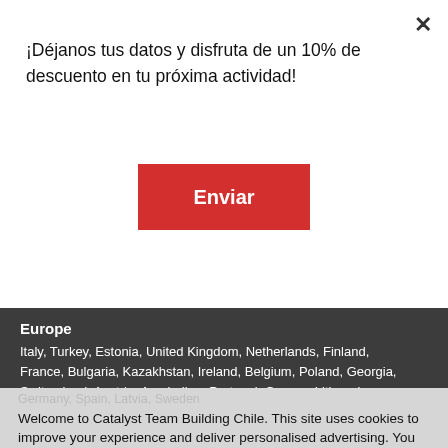¡Déjanos tus datos y disfruta de un 10% de descuento en tu próxima actividad!
Enviar
Europe
Italy, Turkey, Estonia, United Kingdom, Netherlands, Finland, France, Bulgaria, Kazakhstan, Ireland, Belgium, Poland, Georgia, Switzerland, Austria, Azerbaijan, Portugal, Greece, Lithuania, Romania, Czech Republic, Slovenia, Malta, Slovakia, Denmark
Germany, Spain, Latvia, Sweden
Welcome to Catalyst Team Building Chile. This site uses cookies to improve your experience and deliver personalised advertising. You can opt out at any time or find out more by reading our cookie policy.
I Understand
info@catalystchile.cl